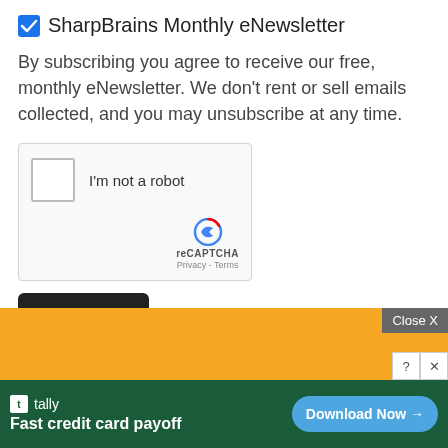☑ SharpBrains Monthly eNewsletter
By subscribing you agree to receive our free, monthly eNewsletter. We don't rent or sell emails collected, and you may unsubscribe at any time.
[Figure (screenshot): reCAPTCHA widget box with 'I'm not a robot' checkbox, reCAPTCHA logo, Privacy and Terms links]
Subscribe
[Figure (screenshot): Advertisement banner: orange background with Tally app ad 'Fast credit card payoff' and Download Now button, with Close X button]